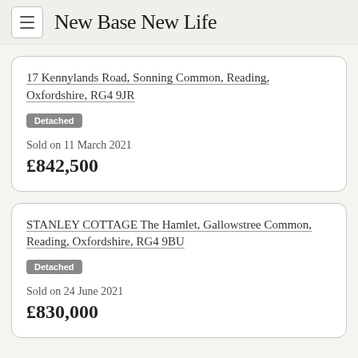New Base New Life
17 Kennylands Road, Sonning Common, Reading, Oxfordshire, RG4 9JR
Detached
Sold on 11 March 2021
£842,500
STANLEY COTTAGE The Hamlet, Gallowstree Common, Reading, Oxfordshire, RG4 9BU
Detached
Sold on 24 June 2021
£830,000